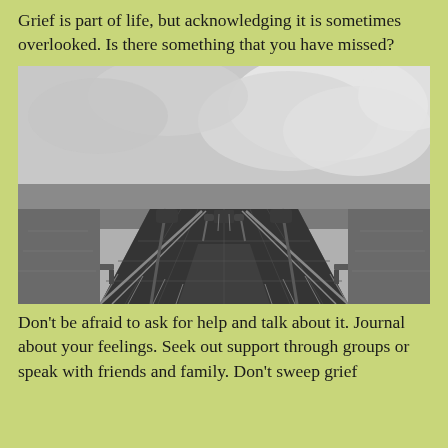Grief is part of life, but acknowledging it is sometimes overlooked. Is there something that you have missed?
[Figure (photo): Black and white photograph of a long wooden pier or boardwalk extending into water toward the horizon, with lamp posts on both sides, wet planks reflecting light, and a dramatic cloudy sky above.]
Don't be afraid to ask for help and talk about it. Journal about your feelings. Seek out support through groups or speak with friends and family. Don't sweep grief under the rug. Acknowledging that there was a loss...